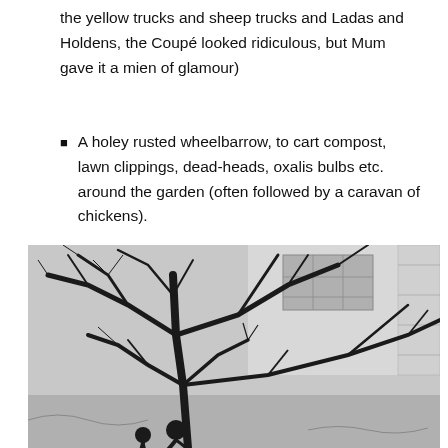the yellow trucks and sheep trucks and Ladas and Holdens, the Coupé looked ridiculous, but Mum gave it a mien of glamour)
A holey rusted wheelbarrow, to cart compost, lawn clippings, dead-heads, oxalis bulbs etc. around the garden (often followed by a caravan of chickens).
[Figure (photo): Black and white photograph of a bare winter tree with sprawling branches in front of a light-coloured building. Two small figures of people are visible at the base of the tree.]